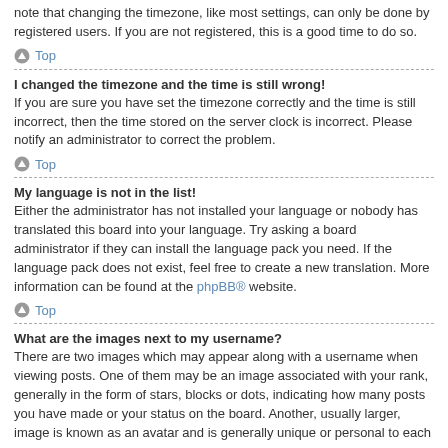note that changing the timezone, like most settings, can only be done by registered users. If you are not registered, this is a good time to do so.
⬆ Top
I changed the timezone and the time is still wrong!
If you are sure you have set the timezone correctly and the time is still incorrect, then the time stored on the server clock is incorrect. Please notify an administrator to correct the problem.
⬆ Top
My language is not in the list!
Either the administrator has not installed your language or nobody has translated this board into your language. Try asking a board administrator if they can install the language pack you need. If the language pack does not exist, feel free to create a new translation. More information can be found at the phpBB® website.
⬆ Top
What are the images next to my username?
There are two images which may appear along with a username when viewing posts. One of them may be an image associated with your rank, generally in the form of stars, blocks or dots, indicating how many posts you have made or your status on the board. Another, usually larger, image is known as an avatar and is generally unique or personal to each user.